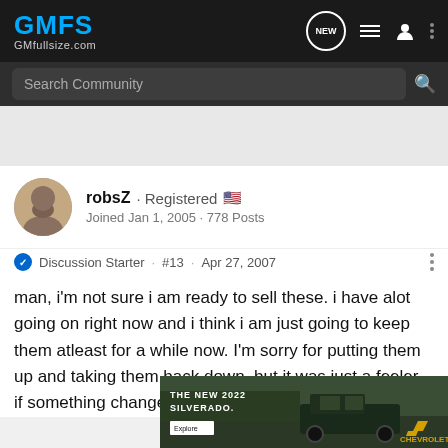GMFS GMfullsize.com
Search Community
robsZ · Registered
Joined Jan 1, 2005 · 778 Posts
Discussion Starter · #13 · Apr 27, 2007
man, i'm not sure i am ready to sell these. i have alot going on right now and i think i am just going to keep them atleast for a while now. I'm sorry for putting them up and taking them back down, but it was just a feeler. if something changes i'll let you know.
[Figure (screenshot): Advertisement for The New 2022 Silverado by Chevrolet, showing a dark-colored truck in a natural outdoor setting with an Explore button]